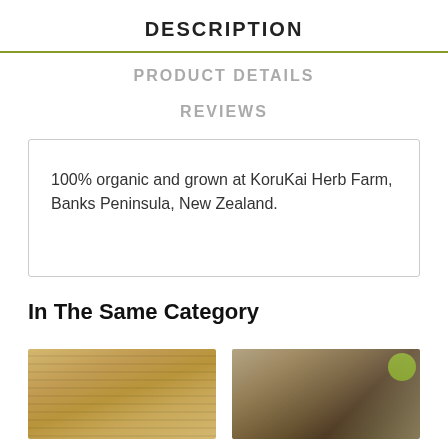DESCRIPTION
PRODUCT DETAILS
REVIEWS
100% organic and grown at KoruKai Herb Farm, Banks Peninsula, New Zealand.
In The Same Category
[Figure (photo): Product image 1 - bamboo or wooden surface texture]
[Figure (photo): Product image 2 - paper bag or natural packaging with dark background and green badge]